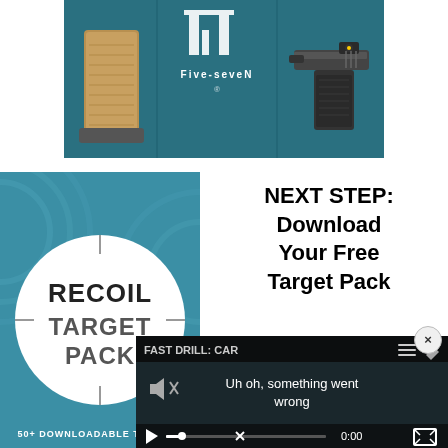[Figure (photo): FN Five-seveN pistol advertisement with gun grip on left panel, FN logo and Five-seveN text in center panel, and full pistol with red dot sight on right panel, all on teal/dark blue background]
[Figure (photo): RECOIL Target Pack promotional image on teal background with concentric circle target design and white circle in center. Text reads RECOIL TARGET PACK. Bottom text reads 50+ DOWNLOADABLE TARGETS]
NEXT STEP:
Download
Your Free
Target Pack
[Figure (screenshot): Video player overlay showing 'FAST DRILL: CAR' title and an error message 'Uh oh, something went wrong' with muted speaker icon, play button, seek bar with X marker, 0:00 timestamp, and fullscreen button]